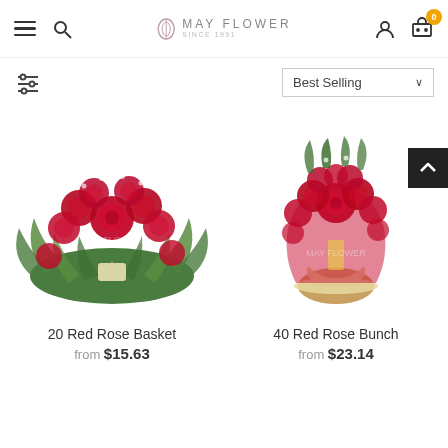May Flower — navigation header with hamburger menu, search, logo, account, and cart (0 items)
Best Selling
[Figure (photo): 20 Red Rose Basket — a round arrangement of red roses with greenery and baby's breath, with a yellow tag]
20 Red Rose Basket
from $15.63
[Figure (photo): 40 Red Rose Bunch — a large bouquet of red roses wrapped in red mesh ribbon with cream bow]
40 Red Rose Bunch
from $23.14